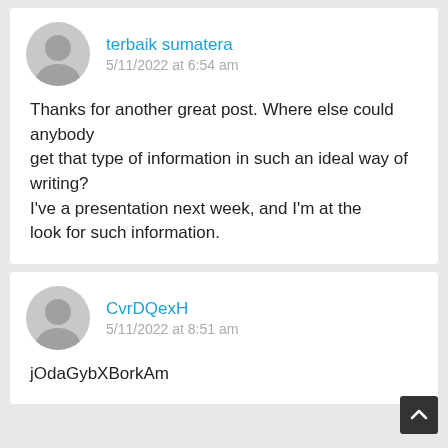terbaik sumatera
5/11/2022 at 6:54 am
Thanks for another great post. Where else could anybody
get that type of information in such an ideal way of writing?
I've a presentation next week, and I'm at the look for such information.
CvrDQexH
5/11/2022 at 8:51 am
jOdaGybXBorkAm